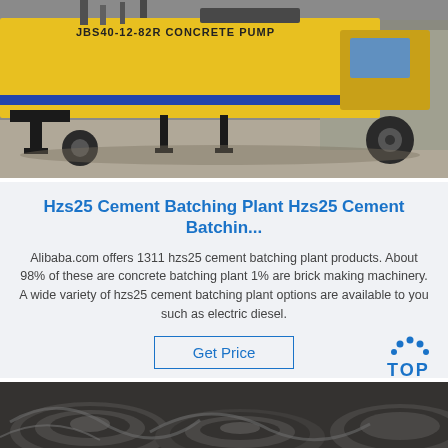[Figure (photo): Yellow JBS40-12-82R concrete pump truck parked in industrial yard, showing side panel with label text, chassis, and wheels]
Hzs25 Cement Batching Plant Hzs25 Cement Batchin...
Alibaba.com offers 1311 hzs25 cement batching plant products. About 98% of these are concrete batching plant 1% are brick making machinery. A wide variety of hzs25 cement batching plant options are available to you such as electric diesel.
[Figure (other): Get Price button with blue border and blue text]
[Figure (logo): TOP badge with blue dots arc above and T-O-P text in blue]
[Figure (photo): Close-up of dark gray concrete mixing auger/screw blades machinery parts]